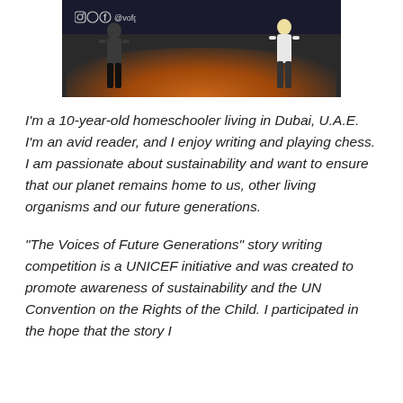[Figure (photo): Two figures standing on a stage with orange/warm stage lighting. A banner in the background shows social media icons and text '@vofg_ar__a'. The stage has a dark background with warm amber floor lighting.]
I'm a 10-year-old homeschooler living in Dubai, U.A.E. I'm an avid reader, and I enjoy writing and playing chess. I am passionate about sustainability and want to ensure that our planet remains home to us, other living organisms and our future generations.
“The Voices of Future Generations” story writing competition is a UNICEF initiative and was created to promote awareness of sustainability and the UN Convention on the Rights of the Child. I participated in the hope that the story I